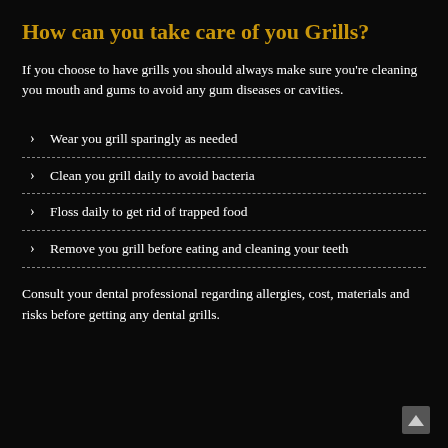How can you take care of you Grills?
If you choose to have grills you should always make sure you're cleaning you mouth and gums to avoid any gum diseases or cavities.
Wear you grill sparingly as needed
Clean you grill daily to avoid bacteria
Floss daily to get rid of trapped food
Remove you grill before eating and cleaning your teeth
Consult your dental professional regarding allergies, cost, materials and risks before getting any dental grills.